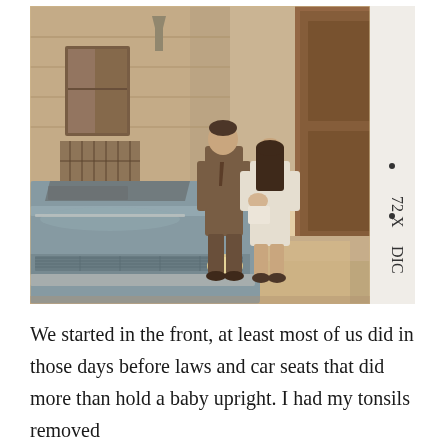[Figure (photo): Vintage photograph from the early 1970s showing a man in a suit and a woman in a white dress holding a baby, standing in front of a classic blue car on a European street. Building facade visible in the background. Film edge markings visible on the right side reading '72 X' and 'DIC'.]
We started in the front, at least most of us did in those days before laws and car seats that did more than hold a baby upright. I had my tonsils removed